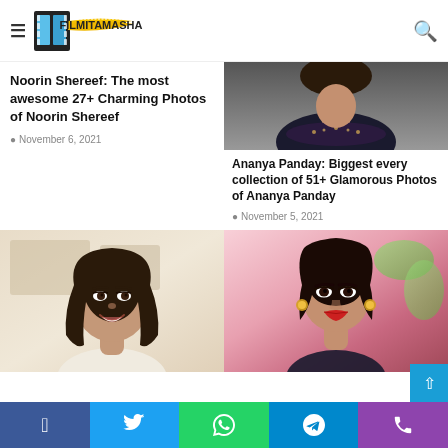FilmiTamasha
Noorin Shereef: The most awesome 27+ Charming Photos of Noorin Shereef
November 6, 2021
[Figure (photo): Woman in black dress, close-up photo for Ananya Panday article]
Ananya Panday: Biggest every collection of 51+ Glamorous Photos of Ananya Panday
November 5, 2021
[Figure (photo): Young woman with long dark hair smiling, casual attire, light background]
[Figure (photo): Woman with dark hair pulled back, red lips, gold earrings, pink floral background]